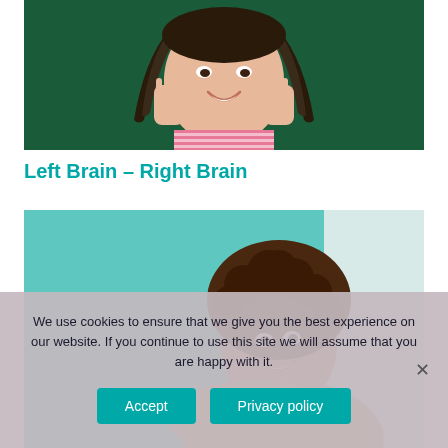[Figure (photo): Photo of a young smiling girl with braids, hands on cheeks, against a dark green background, wearing a pink striped top.]
Left Brain – Right Brain
[Figure (photo): Photo of a smiling young woman with natural curly hair wearing a beige sweater, leaning on a surface against a teal/turquoise background.]
We use cookies to ensure that we give you the best experience on our website. If you continue to use this site we will assume that you are happy with it.